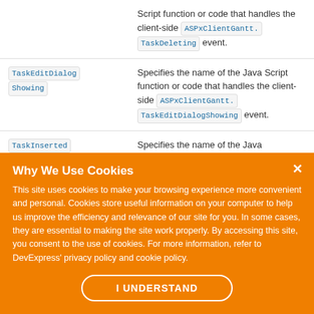| TaskDeleting (code) | Script function or code that handles the client-side ASPxClientGantt.TaskDeleting event. |
| TaskEditDialogShowing | Specifies the name of the Java Script function or code that handles the client-side ASPxClientGantt.TaskEditDialogShowing event. |
| TaskInserted | Specifies the name of the Java... |
Why We Use Cookies
This site uses cookies to make your browsing experience more convenient and personal. Cookies store useful information on your computer to help us improve the efficiency and relevance of our site for you. In some cases, they are essential to making the site work properly. By accessing this site, you consent to the use of cookies. For more information, refer to DevExpress' privacy policy and cookie policy.
I UNDERSTAND